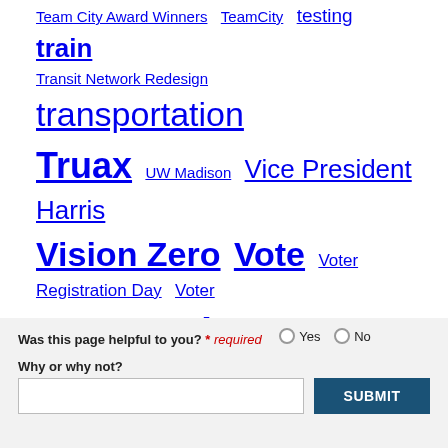Team City Award Winners  TeamCity  testing  train  Transit Network Redesign  transportation  Truax  UW Madison  Vice President Harris  Vision Zero  Vote  Voter Registration Day  Voter suppression  voting  Winter  Winter snow removal  Winter Season  Youth
[Figure (infographic): Social share bar with buttons: + (orange), email (green), Facebook (dark blue), Twitter (blue), Print (gray)]
Was this page helpful to you? * required  Yes  No
Why or why not?
SUBMIT